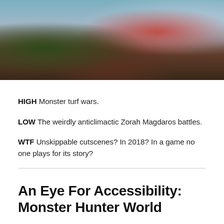[Figure (photo): Game screenshot showing a hunter character facing a large dragon-like monster in a natural environment with colorful rocky terrain and sky background. Monster Hunter World game scene.]
HIGH Monster turf wars.
LOW The weirdly anticlimactic Zorah Magdaros battles.
WTF Unskippable cutscenes? In 2018? In a game no one plays for its story?
An Eye For Accessibility: Monster Hunter World
By GC Staff · February 22, 2018 · Blogs · 1 comment